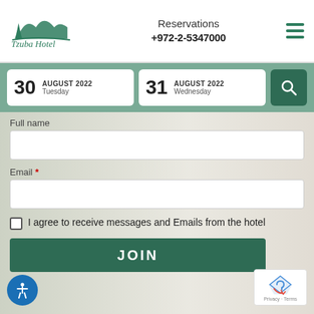[Figure (logo): Tzuba Hotel logo with mountain and tree silhouette in dark teal, text 'Tzuba Hotel' below]
Reservations
+972-2-5347000
30 AUGUST 2022 Tuesday
31 AUGUST 2022 Wednesday
Full name
Email *
I agree to receive messages and Emails from the hotel
JOIN